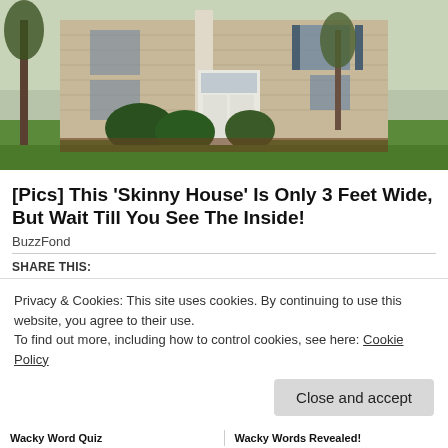[Figure (photo): Exterior photo of a two-story beige/tan colonial-style house with white trim, front door, green shrubs, and a green lawn with trees.]
[Pics] This 'Skinny House' Is Only 3 Feet Wide, But Wait Till You See The Inside!
BuzzFond
SHARE THIS:
Twitter  Facebook
Privacy & Cookies: This site uses cookies. By continuing to use this website, you agree to their use.
To find out more, including how to control cookies, see here: Cookie Policy
Close and accept
Wacky Word Quiz	Wacky Words Revealed!